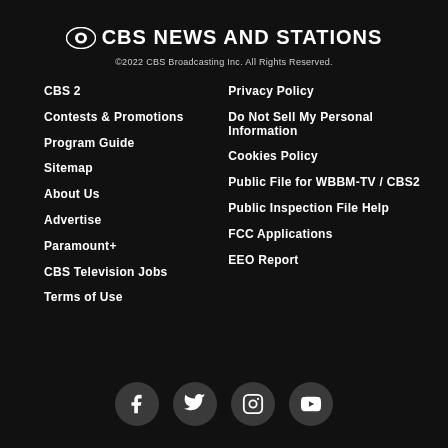[Figure (logo): CBS News and Stations logo with CBS eye icon]
©2022 CBS Broadcasting Inc. All Rights Reserved.
CBS 2
Contests & Promotions
Program Guide
Sitemap
About Us
Advertise
Paramount+
CBS Television Jobs
Terms of Use
Privacy Policy
Do Not Sell My Personal Information
Cookies Policy
Public File for WBBM-TV / CBS2
Public Inspection File Help
FCC Applications
EEO Report
[Figure (illustration): Social media icons: Facebook, Twitter, Instagram, YouTube]